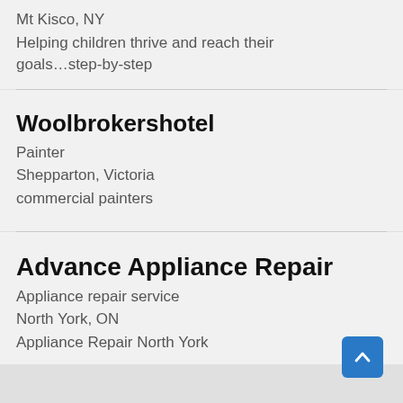Mt Kisco, NY
Helping children thrive and reach their goals…step-by-step
Woolbrokershotel
Painter
Shepparton, Victoria
commercial painters
Advance Appliance Repair
Appliance repair service
North York, ON
Appliance Repair North York